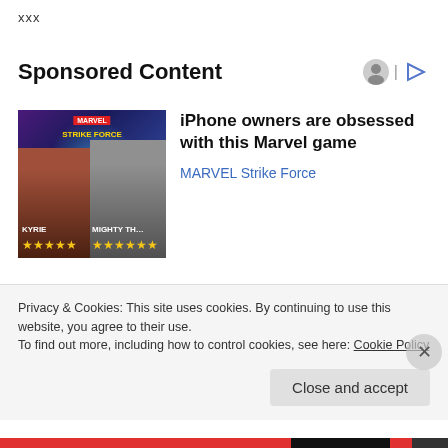XXX
Sponsored Content
[Figure (illustration): Marvel Strike Force game ad image showing characters Kyrie and Mighty Thor with stars ratings]
iPhone owners are obsessed with this Marvel game
MARVEL Strike Force
[Figure (photo): Photo of a pitbull dog standing on grass]
[Photos] Toddler Missing For 2 Days: Man Opens Door, Realizes Pitbull Had Her
Privacy & Cookies: This site uses cookies. By continuing to use this website, you agree to their use.
To find out more, including how to control cookies, see here: Cookie Policy